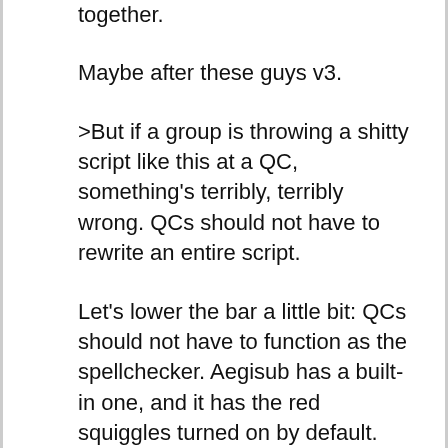together.
Maybe after these guys v3.
>But if a group is throwing a shitty script like this at a QC, something's terribly, terribly wrong. QCs should not have to rewrite an entire script.
Let's lower the bar a little bit: QCs should not have to function as the spellchecker. Aegisub has a built-in one, and it has the red squiggles turned on by default. Typoing into another word? Fine, QCs can take care of that. But if even Aegisub recognizes it as a mistake, it should be taken care of before it gets any